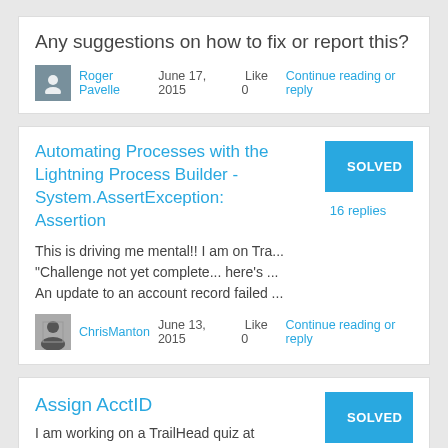Any suggestions on how to fix or report this?
Roger Pavelle   June 17, 2015   Like  0  Continue reading or reply
Automating Processes with the Lightning Process Builder - System.AssertException: Assertion
SOLVED
16 replies
This is driving me mental!! I am on Tra...
"Challenge not yet complete... here's ...
An update to an account record failed ...
ChrisManton   June 13, 2015   Like  0  Continue reading or reply
Assign AcctID
SOLVED
5 replies
I am working on a TrailHead quiz at https://developer.salesforce.com/trail...
I have created a New Account in a pre...